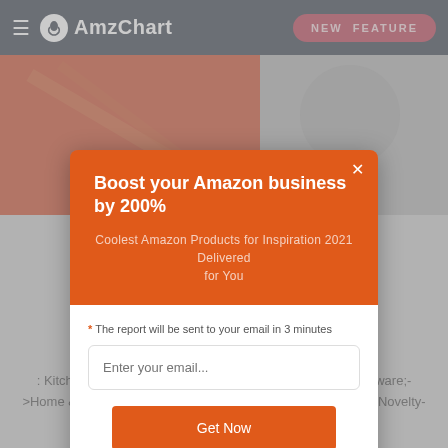AmzChart | NEW FEATURE
[Figure (screenshot): Product image strip showing red/orange colored item on website background]
Fu... ...le
Boost your Amazon business by 200%
Coolest Amazon Products for Inspiration 2021 Delivered for You
* The report will be sent to your email in 3 minutes
Enter your email...
Get Now
: 2019-07-11
: Kitchen & Dining->Dining & Entertaining->Novelty->Serveware;->Home & Kitchen->Kitchen & Dining->Dining & Entertaining->Novelty->Serveware;